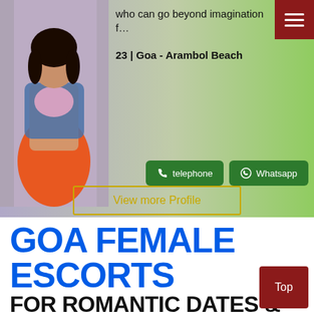[Figure (photo): Profile photo of a woman in a denim jacket and orange skirt]
who can go beyond imagination f…
23 | Goa - Arambol Beach
telephone
Whatsapp
View more Profile
GOA FEMALE ESCORTS
FOR ROMANTIC DATES & GENUINE COMPANIONSHIPS